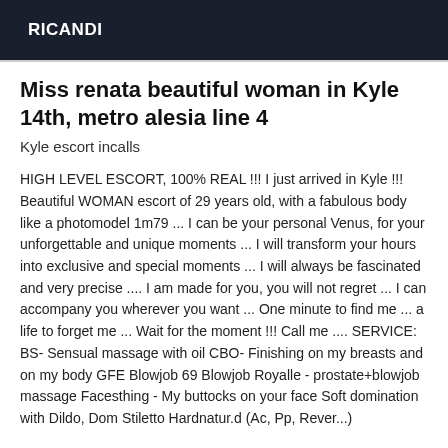RICANDI
Miss renata beautiful woman in Kyle 14th, metro alesia line 4
Kyle escort incalls
HIGH LEVEL ESCORT, 100% REAL !!! I just arrived in Kyle !!! Beautiful WOMAN escort of 29 years old, with a fabulous body like a photomodel 1m79 ... I can be your personal Venus, for your unforgettable and unique moments ... I will transform your hours into exclusive and special moments ... I will always be fascinated and very precise .... I am made for you, you will not regret ... I can accompany you wherever you want ... One minute to find me ... a life to forget me ... Wait for the moment !!! Call me .... SERVICE: BS- Sensual massage with oil CBO- Finishing on my breasts and on my body GFE Blowjob 69 Blowjob Royalle - prostate+blowjob massage Facesthing - My buttocks on your face Soft domination with Dildo, Dom Stiletto Hardnatur.d (Ac, Pp, Rever...)